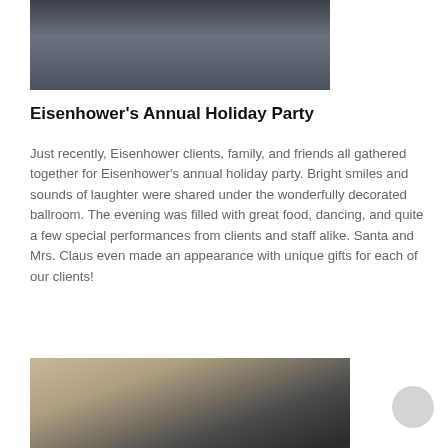[Figure (photo): Partial view of a food buffet table with trays and decorative tablecloth, cropped at top of page]
Eisenhower's Annual Holiday Party
Just recently, Eisenhower clients, family, and friends all gathered together for Eisenhower's annual holiday party. Bright smiles and sounds of laughter were shared under the wonderfully decorated ballroom. The evening was filled with great food, dancing, and quite a few special performances from clients and staff alike. Santa and Mrs. Claus even made an appearance with unique gifts for each of our clients!
[Figure (photo): Two men standing together smiling, one wearing a colorful light-bulb tie and a suit, the other in a black jacket with a lanyard, with Christmas tree decorations in the background]